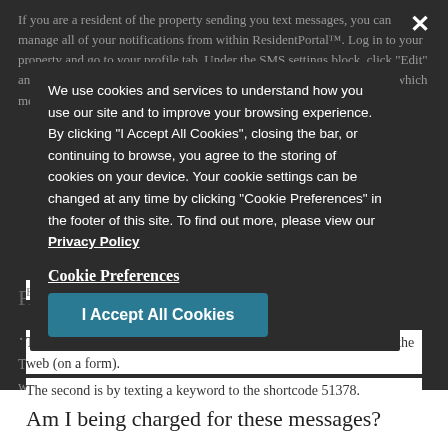If you are a resident of the property sending you text messages, you can manage all of your notifications from within ResidentPortal™. Log in to your property and go to your profile tab. Under the SMS settings block, click "Edit" and un-check the services you would like to opt out of. You can manage which messages you would like to be subscribed to in the same place.
[Figure (screenshot): Cookie consent banner overlay on a dark background showing website cookie policy text with 'I Accept All Cookies' button and 'Cookie Preferences' link. An X close button is in the top right. The banner reads: We use cookies and services to understand how you use our site and to improve your browsing experience. By clicking 'I Accept All Cookies', closing the bar, or continuing to browse, you agree to the storing of cookies on your device. Your cookie settings can be changed at any time by clicking 'Cookie Preferences' in the footer of this site. To find out more, please view our Privacy Policy.]
FAQs
How do I get subscribed to your service?
There are two ways you can opt-in to our services. The first is via the web (on a form).
The second is by texting a keyword to the shortcode 51378.
Am I being charged for these messages?
That depends on the standard SMS rate plan you have setup